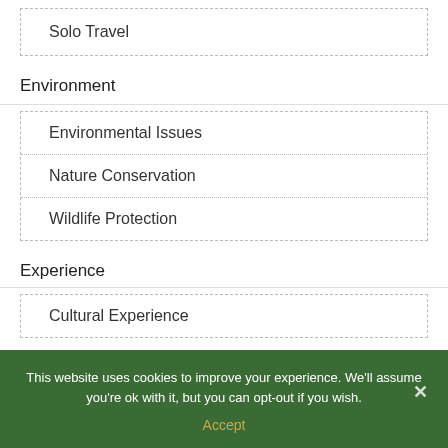Solo Travel
Environment
Environmental Issues
Nature Conservation
Wildlife Protection
Experience
Cultural Experience
This website uses cookies to improve your experience. We'll assume you're ok with it, but you can opt-out if you wish.
Accept